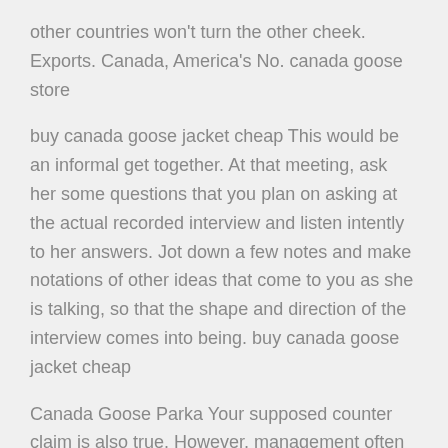other countries won't turn the other cheek. Exports. Canada, America's No. canada goose store
buy canada goose jacket cheap This would be an informal get together. At that meeting, ask her some questions that you plan on asking at the actual recorded interview and listen intently to her answers. Jot down a few notes and make notations of other ideas that come to you as she is talking, so that the shape and direction of the interview comes into being. buy canada goose jacket cheap
Canada Goose Parka Your supposed counter claim is also true. However, management often gets credit for the action of their subordinates, especially when that management is royal. If you are a proponent of one of the